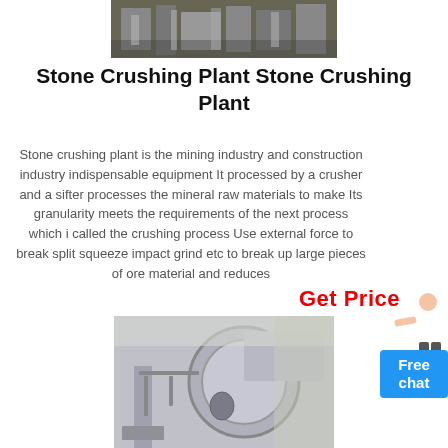[Figure (photo): Industrial stone crushing plant machinery, overhead view showing equipment]
Stone Crushing Plant Stone Crushing Plant
Stone crushing plant is the mining industry and construction industry indispensable equipment It processed by a crusher and a sifter processes the mineral raw materials to make Its granularity meets the requirements of the next process which is called the crushing process Use external force to break split squeeze impact grind etc to break up large pieces of ore material and reduces
[Figure (infographic): Free chat widget with person graphic and blue button labeled Free chat]
Get Price
[Figure (photo): Large industrial ball mill or rotary drum equipment in a factory setting, gray colored machinery]